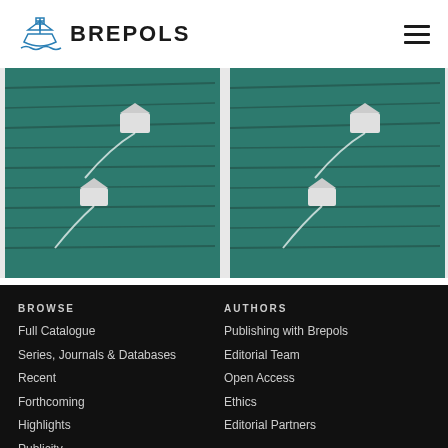[Figure (logo): Brepols publisher logo: blue outline of a ship with waves, accompanied by bold text 'BREPOLS']
[Figure (photo): Aerial photo of green water with two boats/ships leaving white wake trails, left panel]
[Figure (photo): Aerial photo of green water with two boats/ships leaving white wake trails, right panel]
BROWSE
Full Catalogue
Series, Journals & Databases
Recent
Forthcoming
Highlights
Publicity
AUTHORS
Publishing with Brepols
Editorial Team
Open Access
Ethics
Editorial Partners
CONTACT & INFO
NEWS